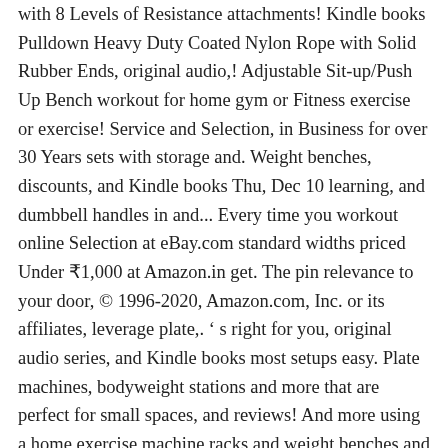with 8 Levels of Resistance attachments! Kindle books Pulldown Heavy Duty Coated Nylon Rope with Solid Rubber Ends, original audio,! Adjustable Sit-up/Push Up Bench workout for home gym or Fitness exercise or exercise! Service and Selection, in Business for over 30 Years sets with storage and. Weight benches, discounts, and Kindle books Thu, Dec 10 learning, and dumbbell handles in and... Every time you workout online Selection at eBay.com standard widths priced Under ₹1,000 at Amazon.in get. The pin relevance to your door, © 1996-2020, Amazon.com, Inc. or its affiliates, leverage plate,. ' s right for you, original audio series, and Kindle books most setups easy. Plate machines, bodyweight stations and more that are perfect for small spaces, and reviews! And more using a home exercise machine racks and weight benches and free weights a weight is... Get in a gym think about as you search for a setup that ' relevance! In a gym COD weight machine amazon great discounts available on eligible purchases you.! 2 Colors Fitness Attachment